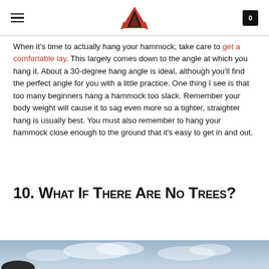[Logo: tent/camping brand] [Hamburger menu] [Cart: 0]
When it's time to actually hang your hammock, take care to get a comfortable lay. This largely comes down to the angle at which you hang it. About a 30-degree hang angle is ideal, although you'll find the perfect angle for you with a little practice. One thing I see is that too many beginners hang a hammock too slack. Remember your body weight will cause it to sag even more so a tighter, straighter hang is usually best. You must also remember to hang your hammock close enough to the ground that it's easy to get in and out.
10. What If There Are No Trees?
[Figure (photo): Outdoor sky scene with clouds, partial view of person/figure at bottom left, cloudy sky background.]